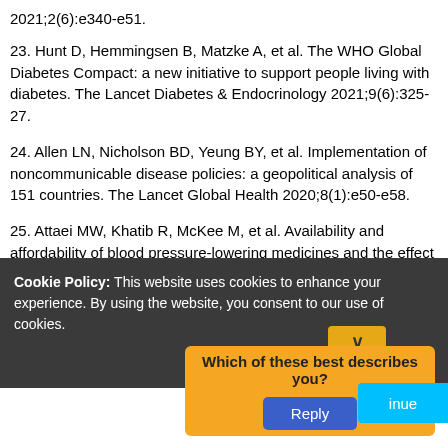2021;2(6):e340-e51.
23. Hunt D, Hemmingsen B, Matzke A, et al. The WHO Global Diabetes Compact: a new initiative to support people living with diabetes. The Lancet Diabetes & Endocrinology 2021;9(6):325-27.
24. Allen LN, Nicholson BD, Yeung BY, et al. Implementation of noncommunicable disease policies: a geopolitical analysis of 151 countries. The Lancet Global Health 2020;8(1):e50-e58.
25. Attaei MW, Khatib R, McKee M, et al. Availability and affordability of blood pressure-lowering medicines and the effect on blood pressure control in high-income, middle-income, and low-income countries: an analysis of the PURE study data. The Lancet Public
Cookie Policy: This website uses cookies to enhance your experience. By using the website, you consent to our use of cookies.
Which of these best describes you?
Reply
inue